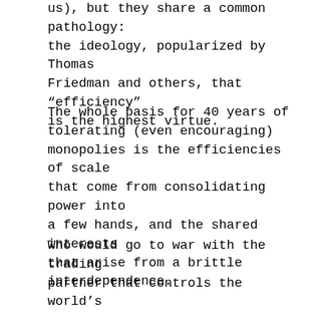us), but they share a common pathology: the ideology, popularized by Thomas Friedman and others, that "efficiency" is the highest virtue.
The whole basis for 40 years of tolerating (even encouraging) monopolies is the efficiencies of scale that come from consolidating power into a few hands, and the shared interests that arise from a brittle interdependence.
Who would go to war with the trading partner that controls the world's supply of some essential item?